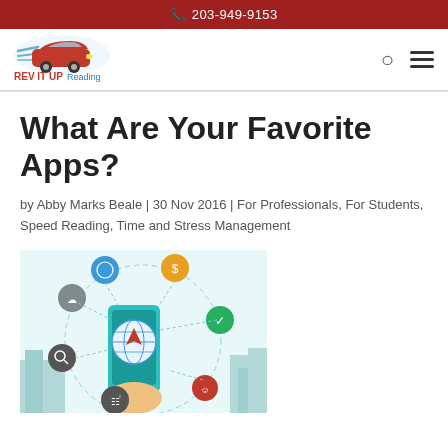203-949-9153
[Figure (logo): Rev It Up Reading logo with a red car and text 'REV IT UP Reading']
What Are Your Favorite Apps?
by Abby Marks Beale | 30 Nov 2016 | For Professionals, For Students, Speed Reading, Time and Stress Management
[Figure (illustration): Illustration of a hand holding a smartphone with app icons connected by dotted lines around it, on a teal/blue background with city silhouette]